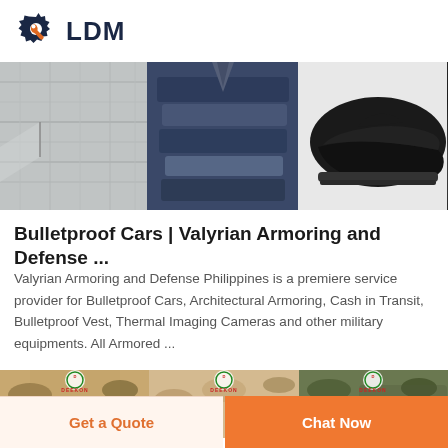[Figure (logo): LDM logo with gear/wrench icon in dark navy and orange]
[Figure (photo): Three product images side by side: grey fabric/textile, folded dark blue clothing items, black leather dress shoe]
Bulletproof Cars | Valyrian Armoring and Defense ...
Valyrian Armoring and Defense Philippines is a premiere service provider for Bulletproof Cars, Architectural Armoring, Cash in Transit, Bulletproof Vest, Thermal Imaging Cameras and other military equipments. All Armored ...
[Figure (photo): Three DEEKON branded military camouflage uniform products partially visible at bottom]
Get a Quote
Chat Now